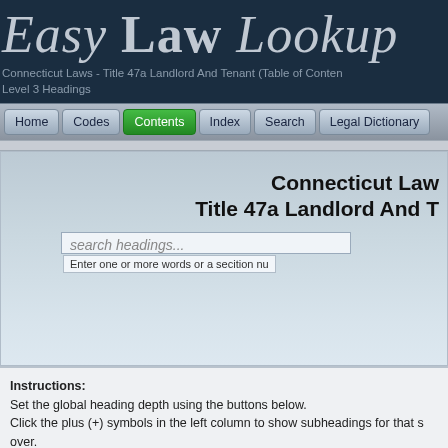Easy Law Lookup
Connecticut Laws - Title 47a Landlord And Tenant (Table of Contents) Level 3 Headings
Connecticut Law Title 47a Landlord And Tenant
search headings...
Enter one or more words or a secition nu
Instructions: Set the global heading depth using the buttons below. Click the plus (+) symbols in the left column to show subheadings for that s over.